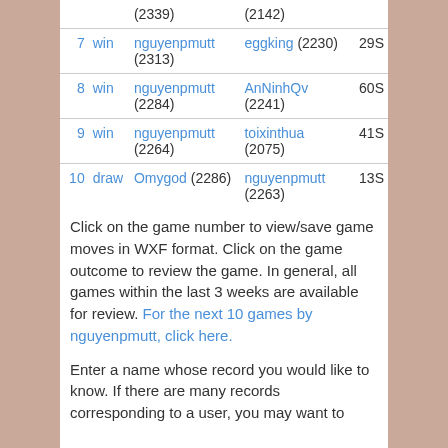| # | outcome | player | opponent | time |
| --- | --- | --- | --- | --- |
|  |  | (2339) | (2142) |  |
| 7 | win | nguyenpmutt (2313) | eggking (2230) | 29S |
| 8 | win | nguyenpmutt (2284) | AnNinhQv (2241) | 60S |
| 9 | win | nguyenpmutt (2264) | toixinthua (2075) | 41S |
| 10 | draw | Omygod (2286) | nguyenpmutt (2263) | 13S |
Click on the game number to view/save game moves in WXF format. Click on the game outcome to review the game. In general, all games within the last 3 weeks are available for review. For the next 10 games by nguyenpmutt, click here.
Enter a name whose record you would like to know. If there are many records corresponding to a user, you may want to specify the number of games to return as well.